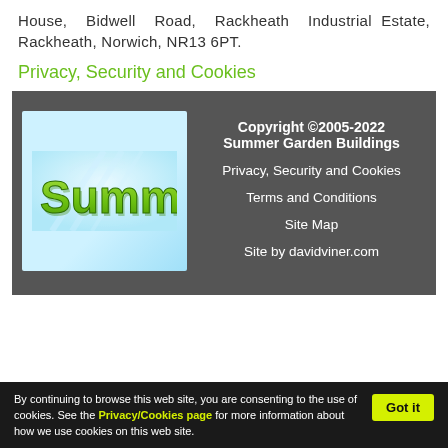House, Bidwell Road, Rackheath Industrial Estate, Rackheath, Norwich, NR13 6PT.
Privacy, Security and Cookies
[Figure (logo): Summer Garden Buildings logo — green 3D 'Summ' text on light blue background]
Copyright ©2005-2022 Summer Garden Buildings
Privacy, Security and Cookies
Terms and Conditions
Site Map
Site by davidviner.com
By continuing to browse this web site, you are consenting to the use of cookies. See the Privacy/Cookies page for more information about how we use cookies on this web site.